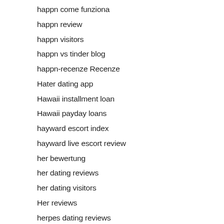happn come funziona
happn review
happn visitors
happn vs tinder blog
happn-recenze Recenze
Hater dating app
Hawaii installment loan
Hawaii payday loans
hayward escort index
hayward live escort review
her bewertung
her dating reviews
her dating visitors
Her reviews
herpes dating reviews
Herpes Dating visitors
Herpes Seznamka cena
Heterosexual dating visitors